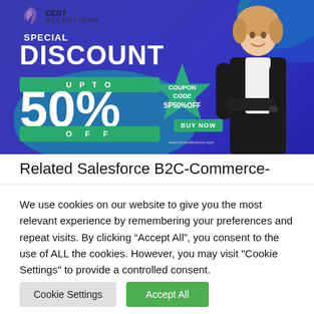[Figure (infographic): Cert Collections advertisement banner showing special discount up to 50% off with coupon code SP50%OFF and a Buy Now button, featuring a woman in business attire]
Related Salesforce B2C-Commerce-
We use cookies on our website to give you the most relevant experience by remembering your preferences and repeat visits. By clicking “Accept All”, you consent to the use of ALL the cookies. However, you may visit "Cookie Settings" to provide a controlled consent.
Cookie Settings
Accept All